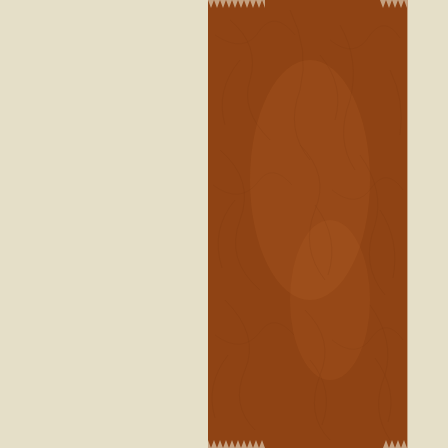[Figure (illustration): A zigzag-edged vertical strip of brown leather texture running down the center of a beige/cream background page. The leather has a crinkled, pebbled surface texture in reddish-brown tones.]
Through less than help and has not b can coun Bargains young me
*** Lyrics
Jimmy Cl
[Figure (screenshot): A rounded-square app icon showing the Facebook 'f' logo overlaid on an image of a cartoon airplane with a star/patriotic theme.]
Conte